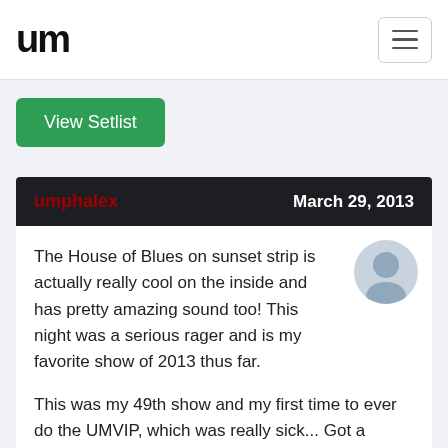um
View Setlist
umphalex   March 29, 2013
The House of Blues on sunset strip is actually really cool on the inside and has pretty amazing sound too! This night was a serious rager and is my favorite show of 2013 thus far.
This was my 49th show and my first time to ever do the UMVIP, which was really sick... Got a signed poster included, laminates, soundcheck on Saturday, and a meet and greet with the